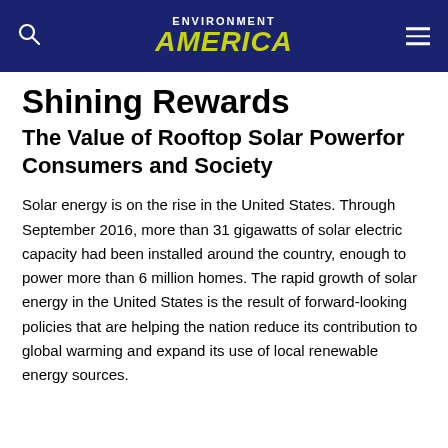ENVIRONMENT AMERICA
Shining Rewards
The Value of Rooftop Solar Powerfor Consumers and Society
Solar energy is on the rise in the United States. Through September 2016, more than 31 gigawatts of solar electric capacity had been installed around the country, enough to power more than 6 million homes. The rapid growth of solar energy in the United States is the result of forward-looking policies that are helping the nation reduce its contribution to global warming and expand its use of local renewable energy sources.